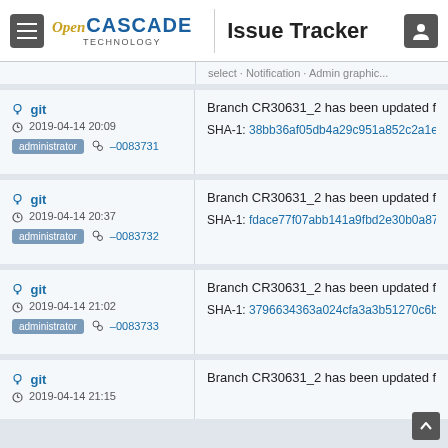Open CASCADE TECHNOLOGY | Issue Tracker
git | 2019-04-14 20:09 | administrator | -0083731 | Branch CR30631_2 has been updated forc | SHA-1: 38bb36af05db4a29c951a852c2a1e...
git | 2019-04-14 20:37 | administrator | -0083732 | Branch CR30631_2 has been updated forc | SHA-1: fdace77f07abb141a9fbd2e30b0a87...
git | 2019-04-14 21:02 | administrator | -0083733 | Branch CR30631_2 has been updated forc | SHA-1: 3796634363a024cfa3a3b51270c6b...
git | 2019-04-14 21:15 | Branch CR30631_2 has been updated forc...